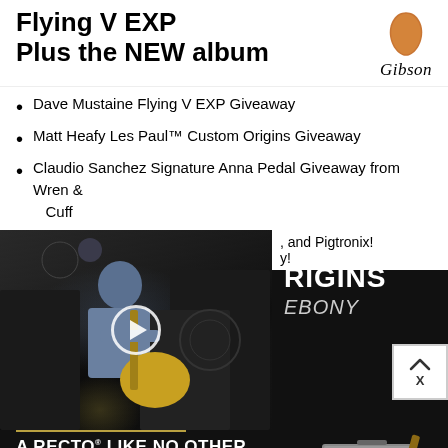[Figure (illustration): Top banner with bold text 'Flying V EXP Plus the NEW album' and Gibson guitar pick logo with cursive Gibson text]
Dave Mustaine Flying V EXP Giveaway
Matt Heafy Les Paul™ Custom Origins Giveaway
Claudio Sanchez Signature Anna Pedal Giveaway from Wren & Cuff
, and Pigtronix!
y!
[Figure (screenshot): Video thumbnail showing a guitarist playing electric guitar with amplifiers in background, with play button overlay]
[Figure (illustration): Dark panel showing 'RIGINS' and 'EBONY' text in white on black background with two white square dots]
[Figure (screenshot): Close/X button overlay in white]
[Figure (illustration): Mesa Boogie advertisement: 'A RECTO LIKE NO OTHER - THE BADLANDER SERIES' with Learn More button and Mesa/Boogie logo, amp image on right]